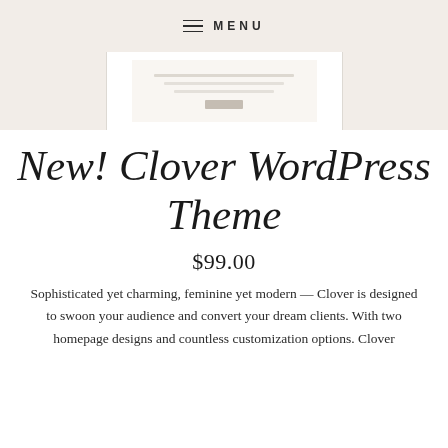MENU
[Figure (screenshot): Partial screenshot of a WordPress theme preview showing a minimal webpage layout with light beige/cream background]
New! Clover WordPress Theme
$99.00
Sophisticated yet charming, feminine yet modern — Clover is designed to swoon your audience and convert your dream clients. With two homepage designs and countless customization options. Clover